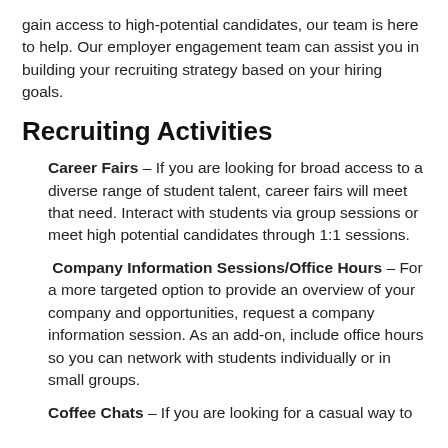gain access to high-potential candidates, our team is here to help. Our employer engagement team can assist you in building your recruiting strategy based on your hiring goals.
Recruiting Activities
Career Fairs – If you are looking for broad access to a diverse range of student talent, career fairs will meet that need. Interact with students via group sessions or meet high potential candidates through 1:1 sessions.
Company Information Sessions/Office Hours – For a more targeted option to provide an overview of your company and opportunities, request a company information session. As an add-on, include office hours so you can network with students individually or in small groups.
Coffee Chats – If you are looking for a casual way to